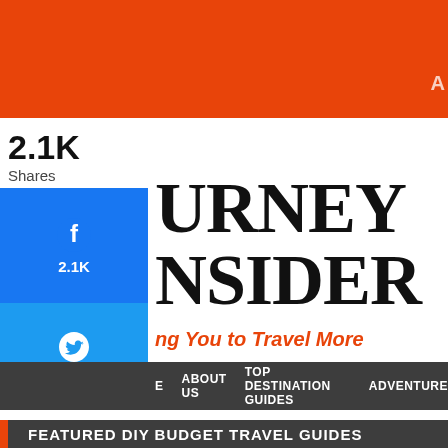A
2.1K
Shares
[Figure (other): Facebook share button with 2.1K count]
[Figure (other): Twitter share button]
[Figure (other): LinkedIn share button]
[Figure (other): More share options button with plus icon]
JOURNEY INSIDER
Inspiring You to Travel More
E   ABOUT US   TOP DESTINATION GUIDES   ADVENTURE
FEATURED DIY BUDGET TRAVEL GUIDES